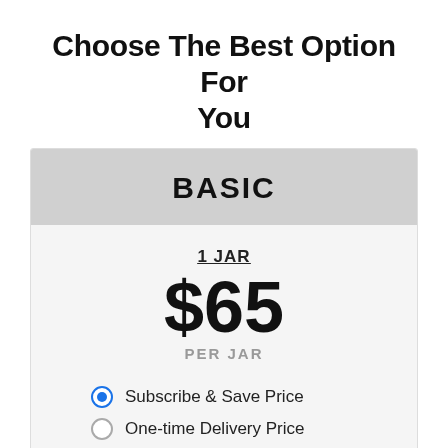Choose The Best Option For You
BASIC
1 JAR
$65
PER JAR
Subscribe & Save Price
One-time Delivery Price